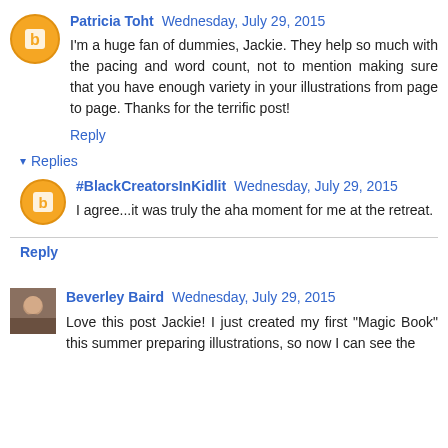Patricia Toht  Wednesday, July 29, 2015
I'm a huge fan of dummies, Jackie. They help so much with the pacing and word count, not to mention making sure that you have enough variety in your illustrations from page to page. Thanks for the terrific post!
Reply
▾ Replies
#BlackCreatorsInKidlit  Wednesday, July 29, 2015
I agree...it was truly the aha moment for me at the retreat.
Reply
Beverley Baird  Wednesday, July 29, 2015
Love this post Jackie! I just created my first "Magic Book" this summer preparing illustrations, so now I can see the